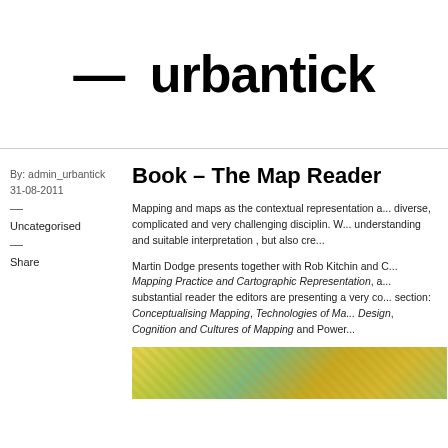— urbantick
By: admin_urbantick
31-08-2011
—
Uncategorised
—
Share
Book – The Map Reader
Mapping and maps as the contextual representation a... diverse, complicated and very challenging disciplin. W... understanding and suitable interpretation , but also cre...
Martin Dodge presents together with Rob Kitchin and C... Mapping Practice and Cartographic Representation, a... substantial reader the editors are presenting a very co... section: Conceptualising Mapping, Technologies of Ma... Design, Cognition and Cultures of Mapping and Power...
[Figure (map): Colorful map image strip showing a topographic or artistic map with yellow, green, and brown tones]